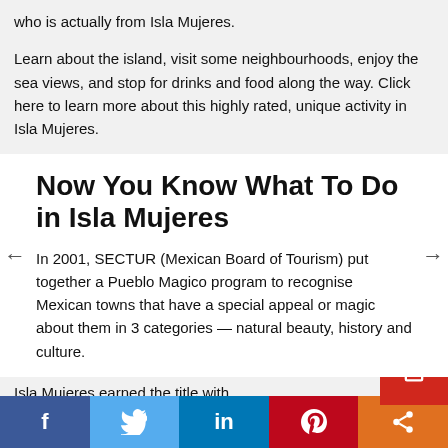who is actually from Isla Mujeres.
Learn about the island, visit some neighbourhoods, enjoy the sea views, and stop for drinks and food along the way. Click here to learn more about this highly rated, unique activity in Isla Mujeres.
Now You Know What To Do in Isla Mujeres
In 2001, SECTUR (Mexican Board of Tourism) put together a Pueblo Magico program to recognise Mexican towns that have a special appeal or magic about them in 3 categories — natural beauty, history and culture.
Isla Mujeres earned the title with...
f  Twitter  in  Pinterest  Share